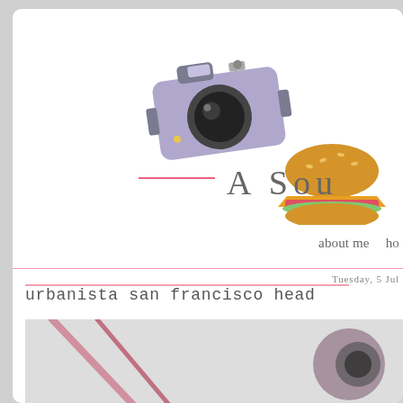[Figure (illustration): Blog header illustration: a purple/lavender camera icon tilted slightly, and a hamburger/food icon, part of a blog logo on white background]
A Sou
about me   ho
Tuesday, 5 Jul
urbanista san francisco head
[Figure (photo): Partial photo showing pink straps/cords against a light background, appears to be headphones or bag straps]